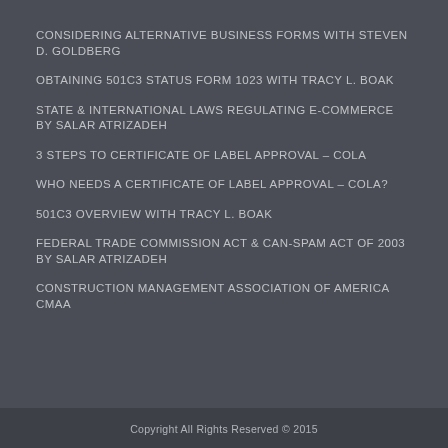CONSIDERING ALTERNATIVE BUSINESS FORMS WITH STEVEN D. GOLDBERG
OBTAINING 501C3 STATUS FORM 1023 WITH TRACY L. BOAK
STATE & INTERNATIONAL LAWS REGULATING E-COMMERCE BY SALAR ATRIZADEH
3 STEPS TO CERTIFICATE OF LABEL APPROVAL – COLA
WHO NEEDS A CERTIFICATE OF LABEL APPROVAL – COLA?
501C3 OVERVIEW WITH TRACY L. BOAK
FEDERAL TRADE COMMISSION ACT & CAN-SPAM ACT OF 2003 BY SALAR ATRIZADEH
CONSTRUCTION MANAGEMENT ASSOCIATION OF AMERICA CMAA
Copyright All Rights Reserved © 2015